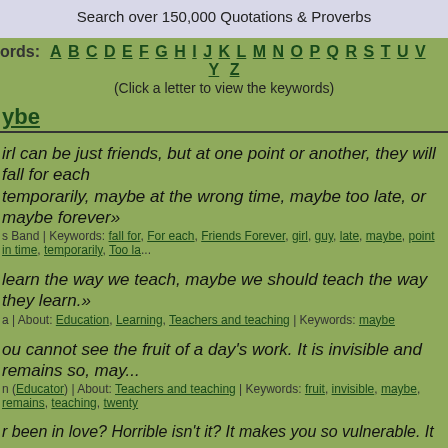Search over 150,000 Quotations & Proverbs
ords: A B C D E F G H I J K L M N O P Q R S T U V ... Y Z (Click a letter to view the keywords)
ybe
irl can be just friends, but at one point or another, they will fall for each temporarily, maybe at the wrong time, maybe too late, or maybe forever»
s Band | Keywords: fall for, For each, Friends Forever, girl, guy, late, maybe, point in time, temporarily, Too la...
learn the way we teach, maybe we should teach the way they learn.»
a | About: Education, Learning, Teachers and teaching | Keywords: maybe
ou cannot see the fruit of a day's work. It is invisible and remains so, may...
n (Educator) | About: Teachers and teaching | Keywords: fruit, invisible, maybe, remains, teaching, twenty
r been in love? Horrible isn't it? It makes you so vulnerable. It opens you... to your heart and it means that someone can get inside you and mess you... se defenses, you build up a whole suit of armor, so that nothing can hurt s... d person, no different from any other stupid person, wanders into your stu... hem a piece of you. They didn't ask for it. They did something dumb one... le at you, and then your life isn't your own anymore. Love takes hostages... ats you out and leaves you crying in the darkness, so simple a phrase lik...